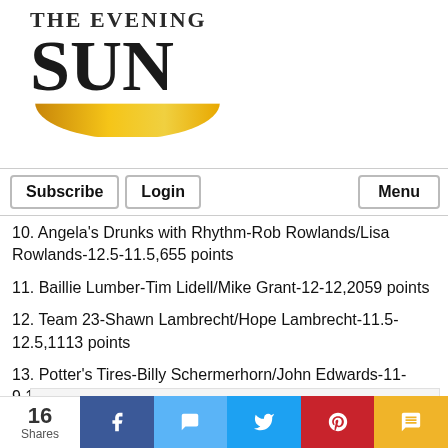[Figure (logo): The Evening Sun newspaper logo with large stylized SUN text and golden arc beneath]
Subscribe | Login | Menu
10. Angela's Drunks with Rhythm-Rob Rowlands/Lisa Rowlands-12.5-11.5,655 points
11. Baillie Lumber-Tim Lidell/Mike Grant-12-12,2059 points
12. Team 23-Shawn Lambrecht/Hope Lambrecht-11.5-12.5,1113 points
13. Potter's Tires-Billy Schermerhorn/John Edwards-11-9,1501 points
Story Continues Below Adverts
16 Shares